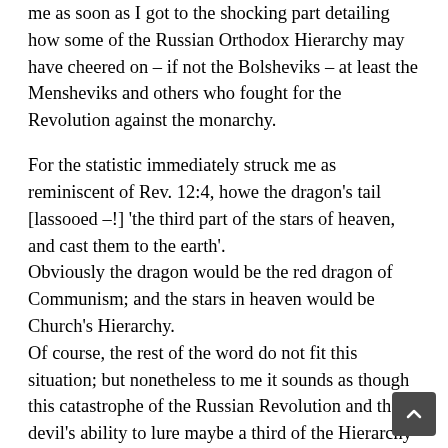me as soon as I got to the shocking part detailing how some of the Russian Orthodox Hierarchy may have cheered on – if not the Bolsheviks – at least the Mensheviks and others who fought for the Revolution against the monarchy.
For the statistic immediately struck me as reminiscent of Rev. 12:4, howe the dragon's tail [lassooed –!] 'the third part of the stars of heaven, and cast them to the earth'. Obviously the dragon would be the red dragon of Communism; and the stars in heaven would be Church's Hierarchy. Of course, the rest of the word do not fit this situation; but nonetheless to me it sounds as though this catastrophe of the Russian Revolution and the devil's ability to lure maybe a third of the Hierarchy into acquiescence was prophesied far in advance. Though not expert in 20th century Russian history, it strikes me as a significant factor in the success of that atheistic takeover; for had the full quota of